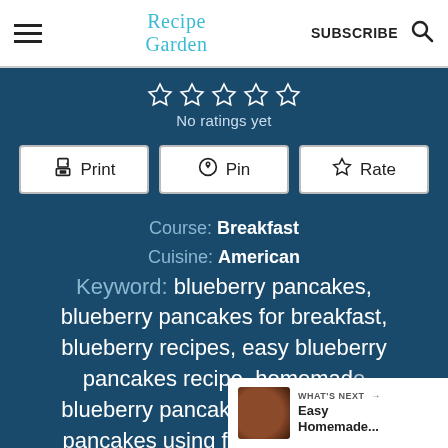Recipe Garden | SUBSCRIBE
No ratings yet
Print | Pin | Rate
Course: Breakfast
Cuisine: American
Keyword: blueberry pancakes, blueberry pancakes for breakfast, blueberry recipes, easy blueberry pancakes recipe, homemade blueberry pancakes from scratch, pancakes using fresh blueberries
WHAT'S NEXT → Easy Homemade...